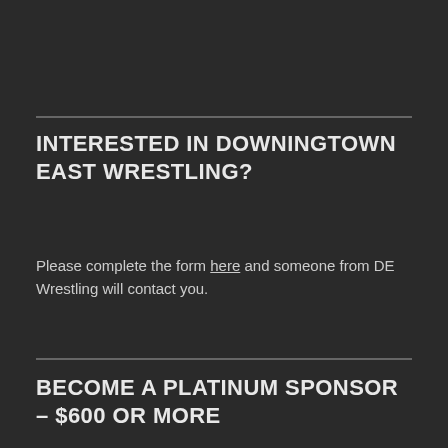INTERESTED IN DOWNINGTOWN EAST WRESTLING?
Please complete the form here and someone from DE Wrestling will contact you.
BECOME A PLATINUM SPONSOR – $600 OR MORE